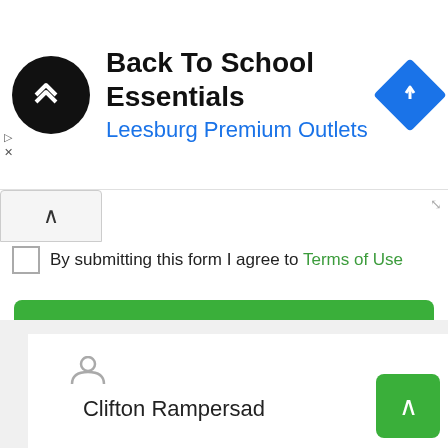[Figure (screenshot): Advertisement banner for Back To School Essentials at Leesburg Premium Outlets. Contains black circular logo with white arrows icon, title text, subtitle in blue, and a blue diamond navigation icon on the right.]
By submitting this form I agree to Terms of Use
Request Information
Send Message
Clifton Rampersad